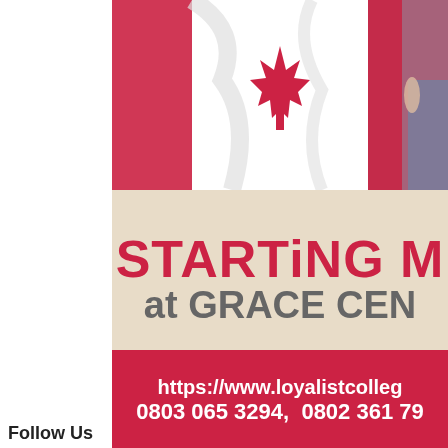[Figure (photo): Canadian flag with red maple leaf and a person in jeans walking in the background, cropped at the top]
STARTiNG M at GRACE CEN
https://www.loyalistcolleg... 0803 065 3294, 0802 361 79...
Follow Us